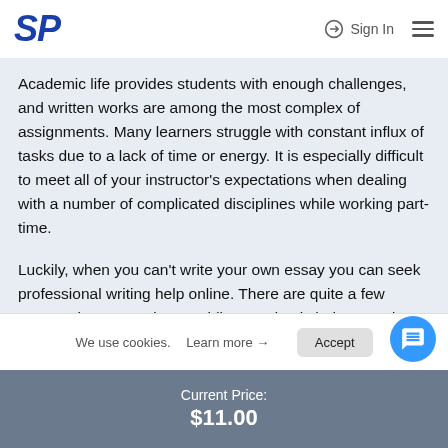SP  Sign In  ≡
Academic life provides students with enough challenges, and written works are among the most complex of assignments. Many learners struggle with constant influx of tasks due to a lack of time or energy. It is especially difficult to meet all of your instructor's expectations when dealing with a number of complicated disciplines while working part-time.
Luckily, when you can't write your own essay you can seek professional writing help online. There are quite a few trustworthy companies providing academic help to students lacking time to complete their assignments. And Speedypaper.com is widely considered to be
We use cookies. Learn more → Accept
Current Price: $11.00